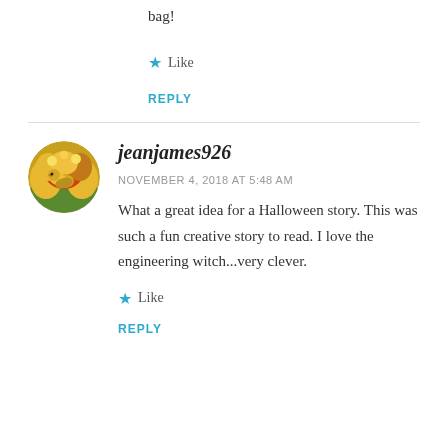bag!
★ Like
REPLY
jeanjames926
NOVEMBER 4, 2018 AT 5:48 AM
What a great idea for a Halloween story. This was such a fun creative story to read. I love the engineering witch...very clever.
★ Like
REPLY